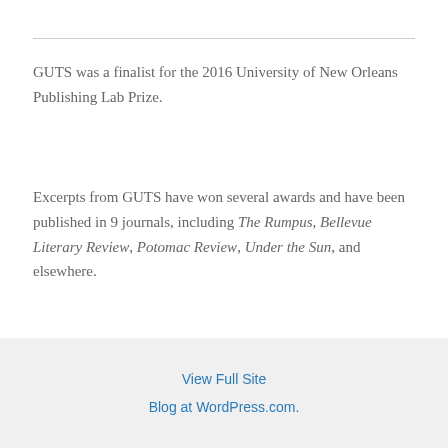GUTS was a finalist for the 2016 University of New Orleans Publishing Lab Prize.
Excerpts from GUTS have won several awards and have been published in 9 journals, including The Rumpus, Bellevue Literary Review, Potomac Review, Under the Sun, and elsewhere.
Connect
View Full Site
Blog at WordPress.com.